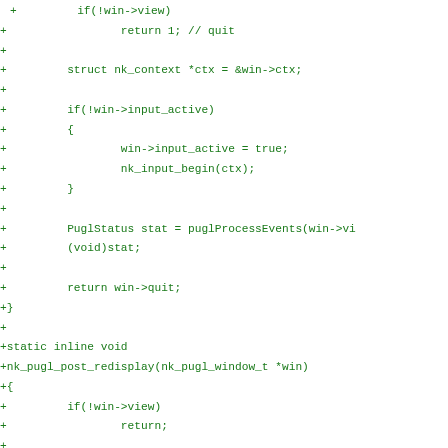+         if(!win->view)
+                 return 1; // quit
+
+         struct nk_context *ctx = &win->ctx;
+
+         if(!win->input_active)
+         {
+                 win->input_active = true;
+                 nk_input_begin(ctx);
+         }
+
+         PuglStatus stat = puglProcessEvents(win->vi
+         (void)stat;
+
+         return win->quit;
+}
+
+static inline void
+nk_pugl_post_redisplay(nk_pugl_window_t *win)
+{
+         if(!win->view)
+                 return;
+
+         puglPostRedisplay(win->view);
+}
+
+static inline void
+nk_pugl_async_redisplay(nk_pugl_window_t *win)
+{
+         if(!win->view)